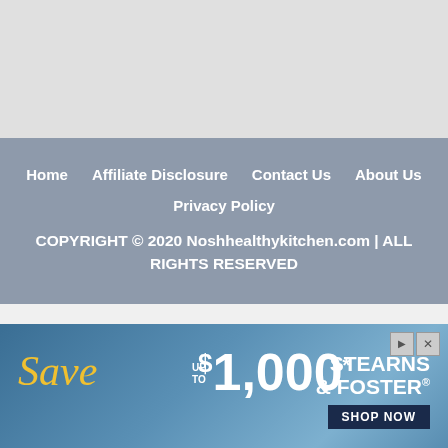[Figure (other): Gray placeholder area at the top of the page]
Home   Affiliate Disclosure   Contact Us   About Us
Privacy Policy
COPYRIGHT © 2020 Noshhealthykitchen.com | ALL RIGHTS RESERVED
[Figure (infographic): Stearns & Foster advertisement: Save up to $1,000. Shop Now. *Select adjustable mattress sets only. Lesser savings may apply. Learn more at StearnsandFoster.com.]